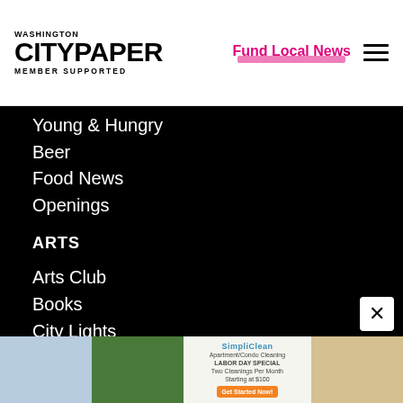[Figure (logo): Washington City Paper - Member Supported logo in black]
Fund Local News
[Figure (illustration): Hamburger menu icon (three horizontal lines)]
Young & Hungry
Beer
Food News
Openings
ARTS
Arts Club
Books
City Lights
Events
Film/TV
Museums/Galleries
[Figure (photo): SimpliClean advertisement banner with Labor Day Special offer - Two Cleanings Per Month Starting at $100, with cleaning-related photos]